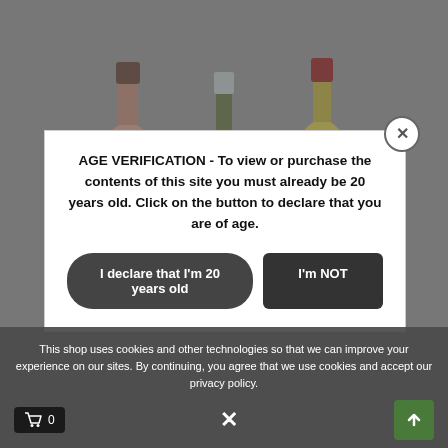[Figure (photo): Three wine bottles on a gray background: left bottle is rosé/pink wine, center bottle is white/green wine, right bottle is yellow/white wine. All partially visible, cut off at the bottom.]
AGE VERIFICATION - To view or purchase the contents of this site you must already be 20 years old. Click on the button to declare that you are of age.
I declare that I'm 20 years old
I'm NOT
This shop uses cookies and other technologies so that we can improve your experience on our sites. By continuing, you agree that we use cookies and accept our privacy policy.